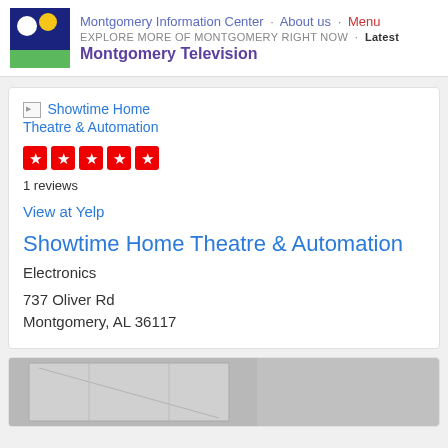Montgomery Information Center · About us · Menu
EXPLORE MORE OF MONTGOMERY RIGHT NOW · Latest
Montgomery Television
[Figure (logo): Montgomery Information Center logo: dark blue square with white circle and yellow/orange circle, green rectangle at bottom]
Showtime Home Theatre & Automation
[Figure (other): Five red star rating squares]
1 reviews
View at Yelp
Showtime Home Theatre & Automation
Electronics
737 Oliver Rd
Montgomery, AL 36117
[Figure (photo): Partial view of a gray/silver ceiling interior photo, partially cut off at bottom of page]